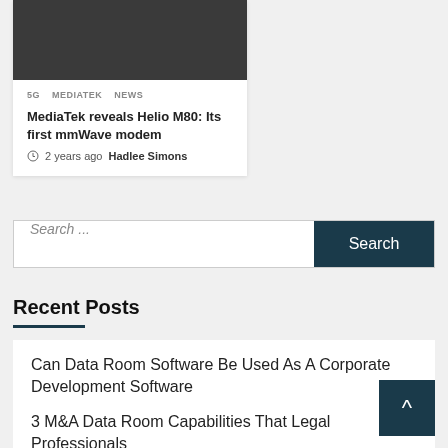[Figure (photo): Dark grey/black image card thumbnail at top left]
5G   MEDIATEK   NEWS
MediaTak reveals Helio M80: Its first mmWave modem
2 years ago   Hadlee Simons
Search ...
Recent Posts
Can Data Room Software Be Used As A Corporate Development Software
3 M&A Data Room Capabilities That Legal Professionals...